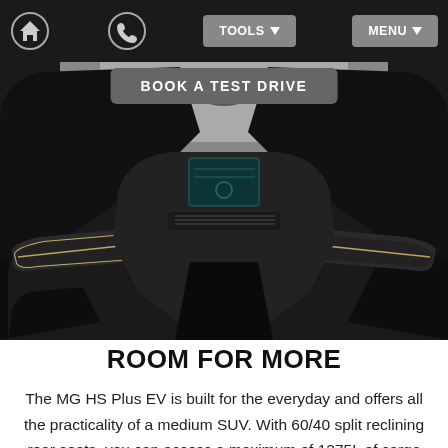TOOLS  MENU
BOOK A TEST DRIVE
[Figure (photo): Interior view of an MG HS Plus EV from rear seats perspective, showing dashboard, infotainment screen, center console, and front headrests against a dark cabin with chrome accents.]
ROOM FOR MORE
The MG HS Plus EV is built for the everyday and offers all the practicality of a medium SUV. With 60/40 split reclining rear seats, you can access a maximum of 1275L of cargo space, for